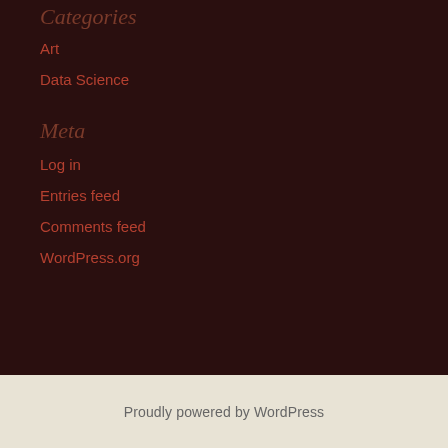Categories
Art
Data Science
Meta
Log in
Entries feed
Comments feed
WordPress.org
Proudly powered by WordPress